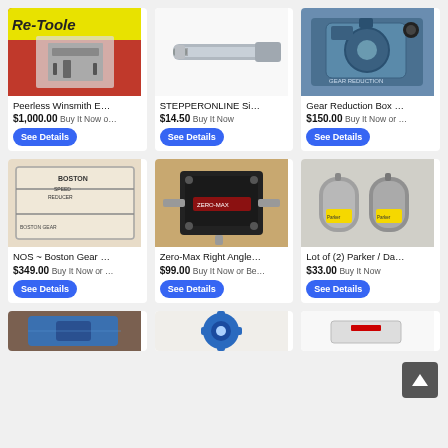[Figure (photo): Peerless Winsmith product photo - electronic measurement tool on red background with Re-Tooled branding]
Peerless Winsmith E…
$1,000.00 Buy It Now o…
See Details
[Figure (photo): STEPPERONLINE silver metal shaft/spindle on white background]
STEPPERONLINE Si…
$14.50 Buy It Now
See Details
[Figure (photo): Gear Reduction Box - teal/blue colored mechanical gear reducer on blue cloth background]
Gear Reduction Box …
$150.00 Buy It Now or …
See Details
[Figure (photo): NOS Boston Gear Speed Reducer in original Boston box]
NOS ~ Boston Gear …
$349.00 Buy It Now or …
See Details
[Figure (photo): Zero-Max Right Angle gearbox/drive unit, black housing with red label, mounted on wood surface]
Zero-Max Right Angle…
$99.00 Buy It Now or Be…
See Details
[Figure (photo): Lot of (2) Parker Daedal encoders/motors, silver and gold colored]
Lot of (2) Parker / Da…
$33.00 Buy It Now
See Details
[Figure (photo): Partial view of bottom row item 1 - appears to be a blue/teal mechanical component]
[Figure (photo): Partial view of bottom row item 2 - blue gear/sprocket mechanical part]
[Figure (photo): Partial view of bottom row item 3 - partially visible item on white background]